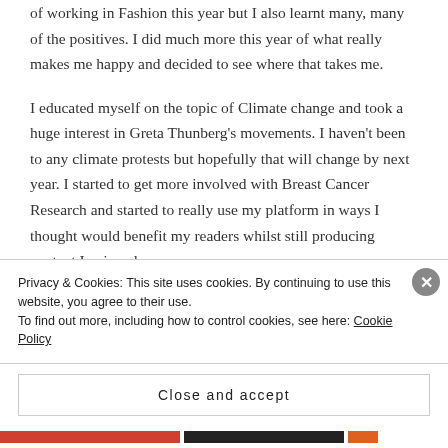of working in Fashion this year but I also learnt many, many of the positives. I did much more this year of what really makes me happy and decided to see where that takes me.
I educated myself on the topic of Climate change and took a huge interest in Greta Thunberg’s movements. I haven’t been to any climate protests but hopefully that will change by next year. I started to get more involved with Breast Cancer Research and started to really use my platform in ways I thought would benefit my readers whilst still producing content I enjoyed.
Privacy & Cookies: This site uses cookies. By continuing to use this website, you agree to their use.
To find out more, including how to control cookies, see here: Cookie Policy
Close and accept